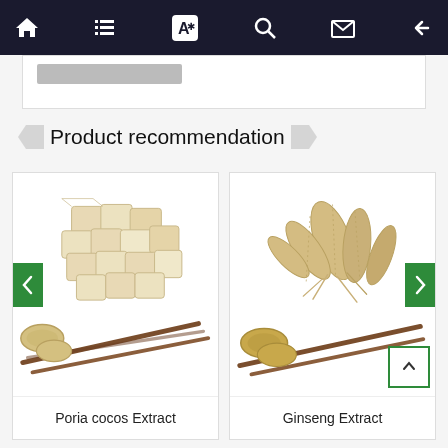Navigation bar with home, list, translate, search, mail, and back icons
Product recommendation
[Figure (photo): Product card showing Poria cocos Extract — dried cube-shaped poria cocos pieces and powder on spoon/brush, with green left arrow navigation button]
Poria cocos Extract
[Figure (photo): Product card showing Ginseng Extract — dried ginseng roots and powder on spoon/brush, with green right arrow navigation button and scroll-to-top button]
Ginseng Extract